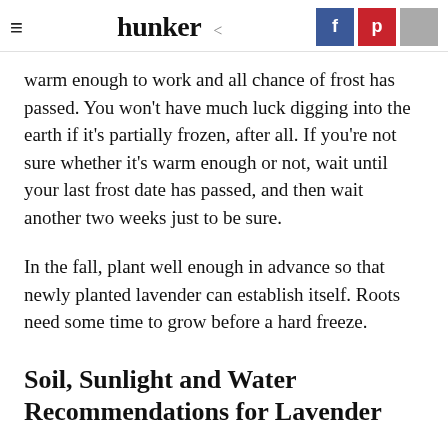hunker
warm enough to work and all chance of frost has passed. You won't have much luck digging into the earth if it's partially frozen, after all. If you're not sure whether it's warm enough or not, wait until your last frost date has passed, and then wait another two weeks just to be sure.
In the fall, plant well enough in advance so that newly planted lavender can establish itself. Roots need some time to grow before a hard freeze.
Soil, Sunlight and Water Recommendations for Lavender
Lavender will be perfectly happy hanging out in soils